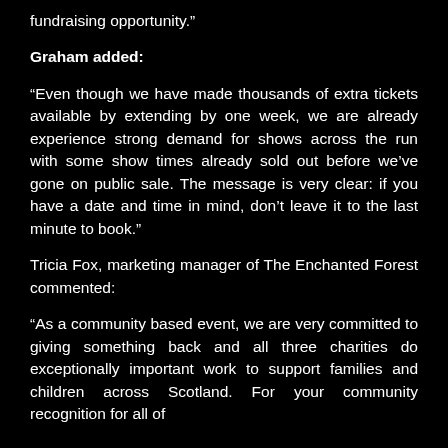fundraising opportunity.”
Graham added:
“Even though we have made thousands of extra tickets available by extending by one week, we are already experience strong demand for shows across the run with some show times already sold out before we’ve gone on public sale. The message is very clear: if you have a date and time in mind, don’t leave it to the last minute to book.”
Tricia Fox, marketing manager of The Enchanted Forest commented:
“As a community based event, we are very committed to giving something back and all three charities do exceptionally important work to support families and children across Scotland. For your community recognition for all of...